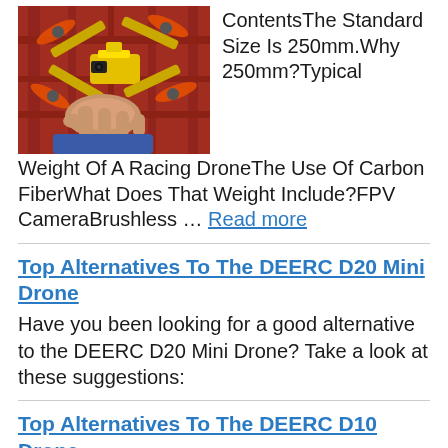[Figure (photo): Person holding a yellow racing drone quadcopter with orange propellers in front of a red metal structure background]
ContentsThe Standard Size Is 250mm.Why 250mm?Typical Weight Of A Racing DroneThe Use Of Carbon FiberWhat Does That Weight Include?FPV CameraBrushless … Read more
Top Alternatives To The DEERC D20 Mini Drone
Have you been looking for a good alternative to the DEERC D20 Mini Drone? Take a look at these suggestions:
Top Alternatives To The DEERC D10 Drone
Have you been looking for a good alternative to the DEERC D10 Drone? Take a look at these suggestions: